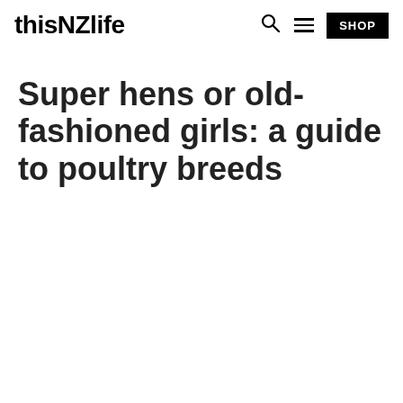thisNZlife
Super hens or old-fashioned girls: a guide to poultry breeds